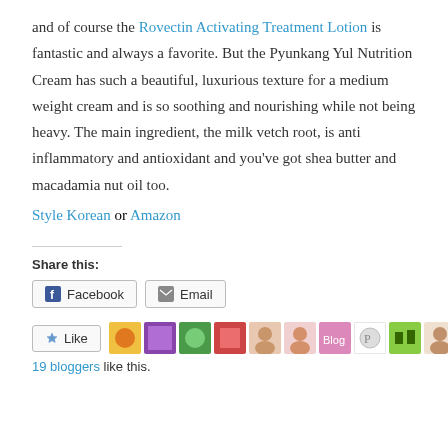and of course the Rovectin Activating Treatment Lotion is fantastic and always a favorite. But the Pyunkang Yul Nutrition Cream has such a beautiful, luxurious texture for a medium weight cream and is so soothing and nourishing while not being heavy. The main ingredient, the milk vetch root, is anti inflammatory and antioxidant and you've got shea butter and macadamia nut oil too.
Style Korean or Amazon
Share this:
Facebook   Email
Like   19 bloggers like this.